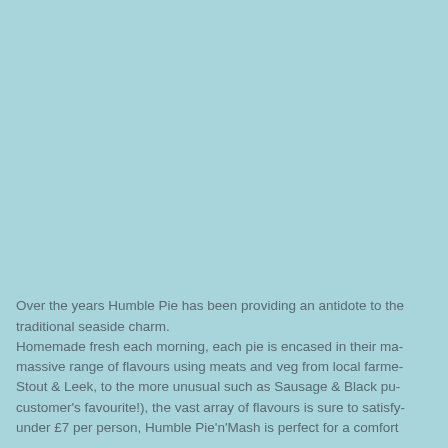[Figure (photo): Large light blue/teal background image occupying the upper portion of the page.]
Over the years Humble Pie has been providing an antidote to the traditional seaside charm.
Homemade fresh each morning, each pie is encased in their made massive range of flavours using meats and veg from local farme Stout & Leek, to the more unusual such as Sausage & Black pu customer's favourite!), the vast array of flavours is sure to satisfy under £7 per person, Humble Pie'n'Mash is perfect for a comforti